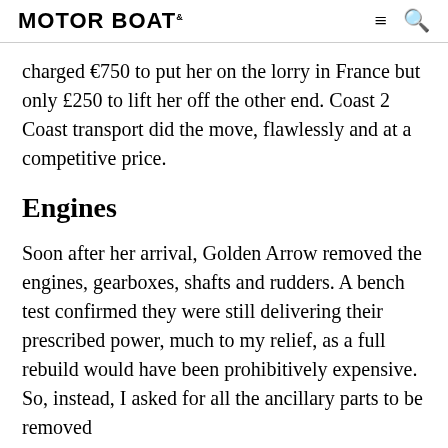MOTOR BOAT
charged €750 to put her on the lorry in France but only £250 to lift her off the other end. Coast 2 Coast transport did the move, flawlessly and at a competitive price.
Engines
Soon after her arrival, Golden Arrow removed the engines, gearboxes, shafts and rudders. A bench test confirmed they were still delivering their prescribed power, much to my relief, as a full rebuild would have been prohibitively expensive. So, instead, I asked for all the ancillary parts to be removed